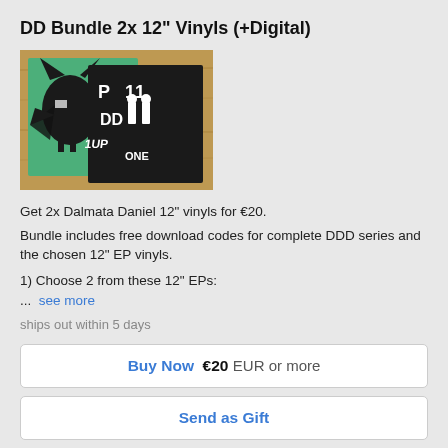DD Bundle 2x 12" Vinyls (+Digital)
[Figure (photo): Two vinyl record covers: one green with black cat/bird graphic, one black with white text/figures reading 'P11', 'DD', '1UP', 'ONE' displayed on a wooden surface]
Get 2x Dalmata Daniel 12" vinyls for €20.
Bundle includes free download codes for complete DDD series and the chosen 12" EP vinyls.
1) Choose 2 from these 12" EPs:
...  see more
ships out within 5 days
Buy Now  €20 EUR or more
Send as Gift